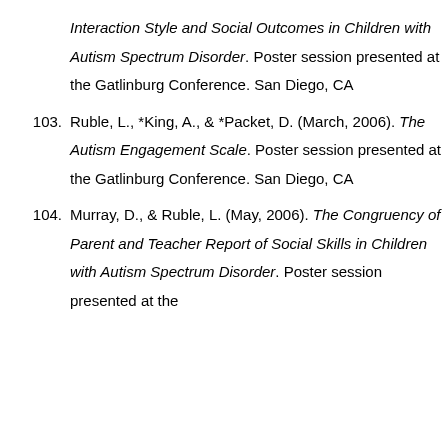Interaction Style and Social Outcomes in Children with Autism Spectrum Disorder. Poster session presented at the Gatlinburg Conference. San Diego, CA
103. Ruble, L., *King, A., & *Packet, D. (March, 2006). The Autism Engagement Scale. Poster session presented at the Gatlinburg Conference. San Diego, CA
104. Murray, D., & Ruble, L. (May, 2006). The Congruency of Parent and Teacher Report of Social Skills in Children with Autism Spectrum Disorder. Poster session presented at the